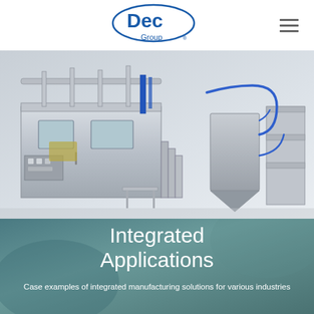[Figure (logo): Dec Group logo: blue oval outline with 'Dec' in bold blue letters and 'Group' below in smaller text, with registered trademark symbol]
[Figure (photo): Industrial pharmaceutical manufacturing equipment: large stainless steel integrated system with tanks, pipes, blue tubing, control panels, stairs, and various processing components on a white background]
Integrated Applications
Case examples of integrated manufacturing solutions for various industries